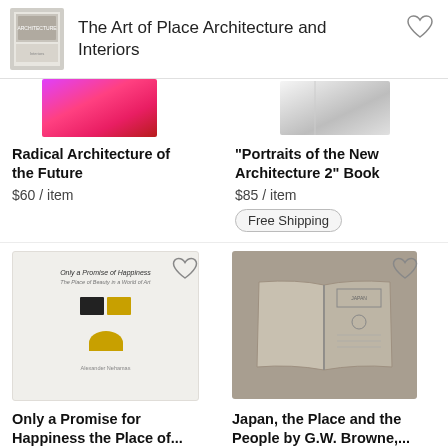[Figure (screenshot): Book thumbnail for The Art of Place Architecture and Interiors]
The Art of Place Architecture and Interiors
[Figure (photo): Partial book cover for Radical Architecture of the Future - colorful abstract design]
Radical Architecture of the Future
$60 / item
[Figure (photo): Partial book cover for Portraits of the New Architecture 2 Book]
"Portraits of the New Architecture 2" Book
$85 / item
Free Shipping
[Figure (photo): Book cover for Only a Promise for Happiness the Place of...]
Only a Promise for Happiness the Place of...
$49
[Figure (photo): Open book photo for Japan, the Place and the People by G.W. Browne,...]
Japan, the Place and the People by G.W. Browne,...
$177